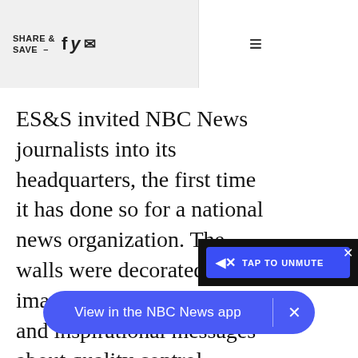SHARE & SAVE —  [Facebook] [Twitter] [Email]  ☰
ES&S invited NBC News journalists into its headquarters, the first time it has done so for a national news organization. The walls were decorated with images of the Constitution and inspirational messages about quality control.
[Figure (screenshot): Video player overlay showing 'TAP TO UNMUTE' button in blue with speaker icon, on dark background, with X close button]
[Figure (screenshot): NBC News app banner in blue/purple pill shape reading 'View in the NBC News app' with X close button]